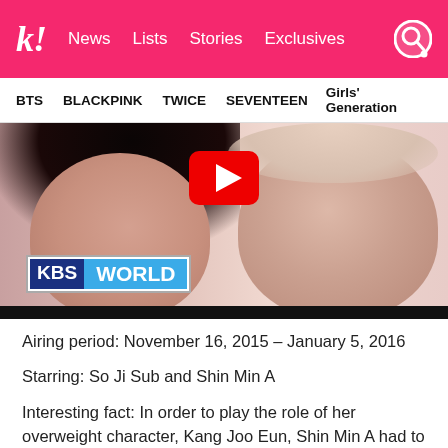k! News  Lists  Stories  Exclusives
BTS  BLACKPINK  TWICE  SEVENTEEN  Girls' Generation
[Figure (photo): A video thumbnail showing two people (a woman and a man) in a romantic pose, with a red YouTube play button overlay, and a KBS WORLD logo in the lower left. A black bar appears at the bottom of the image.]
Airing period: November 16, 2015 – January 5, 2016
Starring: So Ji Sub and Shin Min A
Interesting fact: In order to play the role of her overweight character, Kang Joo Eun, Shin Min A had to go through a three-hour makeup process